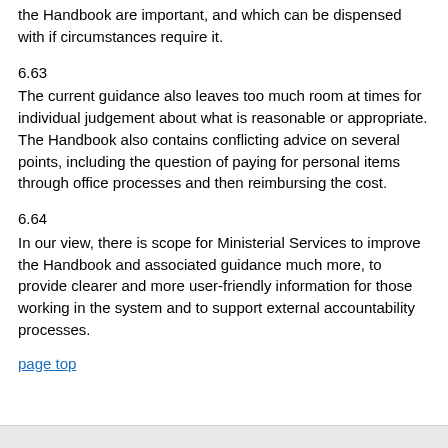the Handbook are important, and which can be dispensed with if circumstances require it.
6.63
The current guidance also leaves too much room at times for individual judgement about what is reasonable or appropriate. The Handbook also contains conflicting advice on several points, including the question of paying for personal items through office processes and then reimbursing the cost.
6.64
In our view, there is scope for Ministerial Services to improve the Handbook and associated guidance much more, to provide clearer and more user-friendly information for those working in the system and to support external accountability processes.
page top